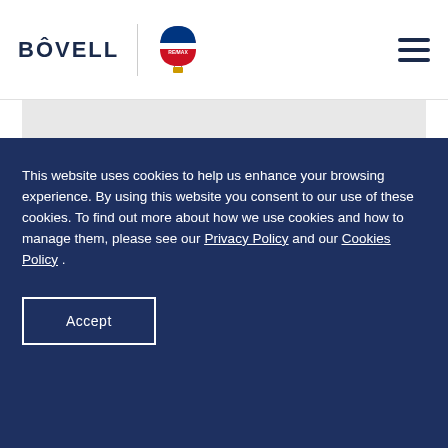BÔVELL | RE/MAX [logo]
[Figure (photo): Gray placeholder image area with an error/warning icon (exclamation mark in gray circle) centered near the bottom of the image]
This website uses cookies to help us enhance your browsing experience. By using this website you consent to our use of these cookies. To find out more about how we use cookies and how to manage them, please see our Privacy Policy and our Cookies Policy .
Accept